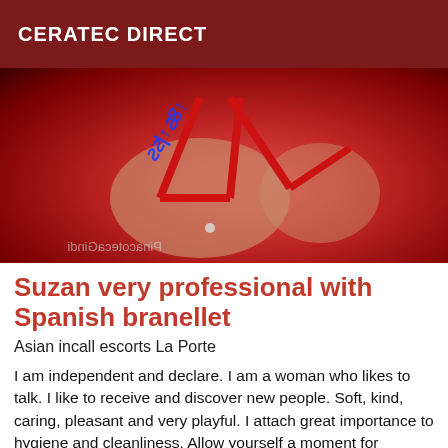CERATEC DIRECT
[Figure (photo): Close-up photo of a woman wearing a red bikini/lingerie top. A blue phone number watermark is visible diagonally on the upper portion. A mirrored watermark text appears at the bottom left corner.]
Suzan very professional with Spanish branellet
Asian incall escorts La Porte
I am independent and declare. I am a woman who likes to talk. I like to receive and discover new people. Soft, kind, caring, pleasant and very playful. I attach great importance to hygiene and cleanliness. Allow yourself a moment of relaxation, as your wife or girlfriend. And...